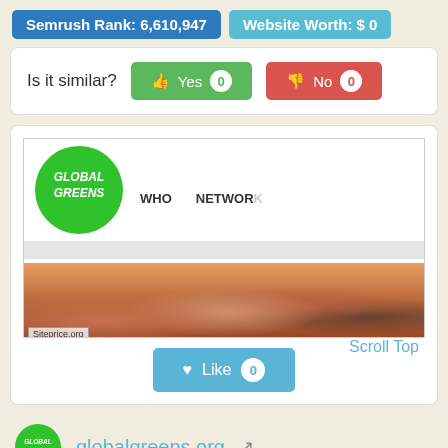Semrush Rank: 6,610,947
Website Worth: $ 0
Is it similar? Yes 0  No 0
[Figure (screenshot): Screenshot of globalgreens.org website showing the Global Greens logo (green circle with white handwritten text), navigation items WHO and NETWORK, a search bar, and a crowd photo. Bottom right shows 'Scroll Top' text. Bottom shows 'Siteprice.org' watermark.]
Like 0
globalgreens.org